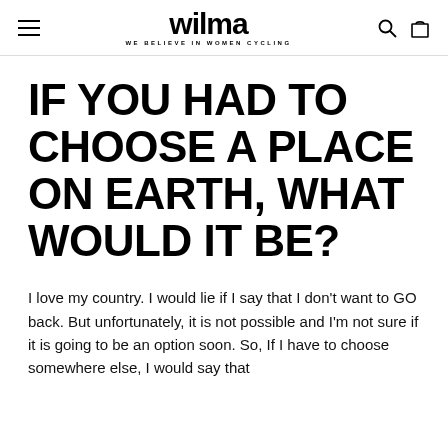wilma — WE BELIEVE IN WOMEN CYCLING
IF YOU HAD TO CHOOSE A PLACE ON EARTH, WHAT WOULD IT BE?
I love my country. I would lie if I say that I don't want to GO back. But unfortunately, it is not possible and I'm not sure if it is going to be an option soon. So, If I have to choose somewhere else, I would say that